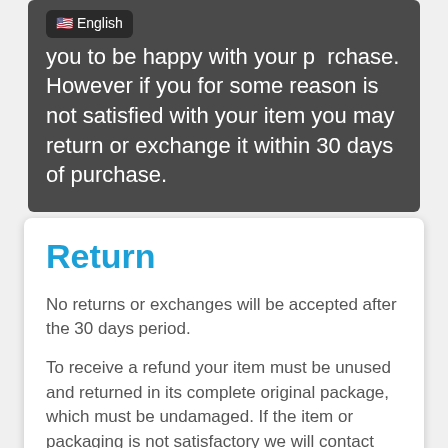we want you to be happy with your purchase. However if you for some reason is not satisfied with your item you may return or exchange it within 30 days of purchase.
Return
No returns or exchanges will be accepted after the 30 days period.
To receive a refund your item must be unused and returned in its complete original package, which must be undamaged. If the item or packaging is not satisfactory we will contact you.
Contact us at sales@lightairthailand.com